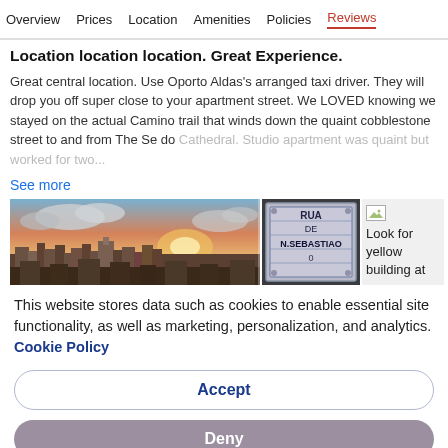Overview  Prices  Location  Amenities  Policies  Reviews
Location location location. Great Experience.
Great central location. Use Oporto Aldas's arranged taxi driver. They will drop you off super close to your apartment street. We LOVED knowing we stayed on the actual Camino trail that winds down the quaint cobblestone street to and from The Se do Cathedral. Studio apartment was quaint but worked for two...
See more
[Figure (photo): Panoramic cityscape at sunset with rooftops and sky, a street sign reading 'RUA DE N.SEBASTIAO', and a partially loaded image with text 'Look for yellow building at']
This website stores data such as cookies to enable essential site functionality, as well as marketing, personalization, and analytics. Cookie Policy
Accept
Deny